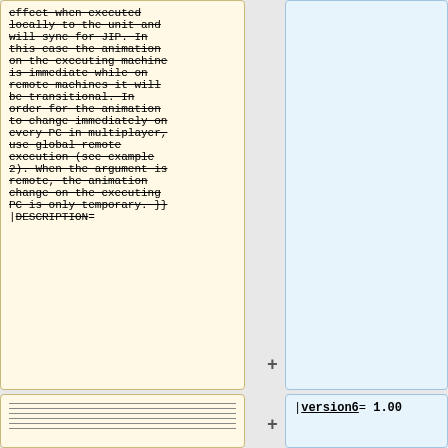effect when executed locally to the unit and will sync for JIP. In this case the animation on the executing machine is immediate while on remote machines it will be transitional. In order for the animation to change immediately on every PC in multiplayer, use global remote execution (see example 2). When the argument is remote, the animation change on the executing PC is only temporary. }} |DESCRIPTION=
|version6= 1.00